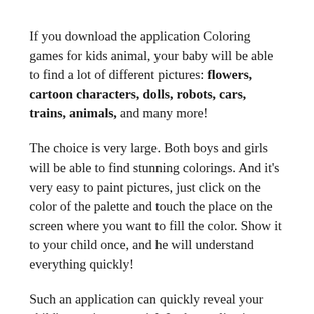If you download the application Coloring games for kids animal, your baby will be able to find a lot of different pictures: flowers, cartoon characters, dolls, robots, cars, trains, animals, and many more!
The choice is very large. Both boys and girls will be able to find stunning colorings. And it's very easy to paint pictures, just click on the color of the palette and touch the place on the screen where you want to fill the color. Show it to your child once, and he will understand everything quickly!
Such an application can quickly reveal your child's creative potential. In the application, there is a large selection of colors on the palette. If your baby chose the wrong color, it can be easily